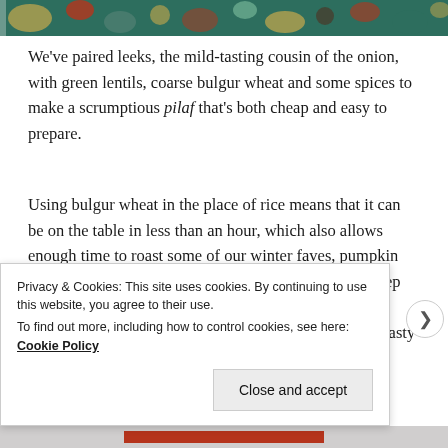[Figure (illustration): Decorative folk-art style illustration strip with colorful plants, animals and patterns in teal, orange, red and brown tones]
We've paired leeks, the mild-tasting cousin of the onion, with green lentils, coarse bulgur wheat and some spices to make a scrumptious pilaf that's both cheap and easy to prepare.
Using bulgur wheat in the place of rice means that it can be on the table in less than an hour, which also allows enough time to roast some of our winter faves, pumpkin and beetroot, to add a splash of colour to the plate. Keep any leftovers in the fridge – they can be moulded into patties and fried in oil or baked in the oven to make a tasty brunch or supper.
Privacy & Cookies: This site uses cookies. By continuing to use this website, you agree to their use.
To find out more, including how to control cookies, see here: Cookie Policy
Close and accept